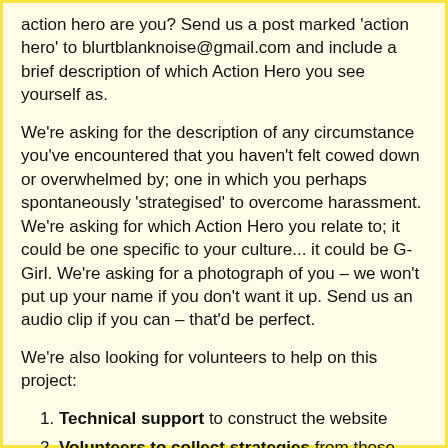action hero are you? Send us a post marked 'action hero' to blurtblanknoise@gmail.com and include a brief description of which Action Hero you see yourself as.
We're asking for the description of any circumstance you've encountered that you haven't felt cowed down or overwhelmed by; one in which you perhaps spontaneously 'strategised' to overcome harassment. We're asking for which Action Hero you relate to; it could be one specific to your culture... it could be G-Girl. We're asking for a photograph of you – we won't put up your name if you don't want it up. Send us an audio clip if you can – that'd be perfect.
We're also looking for volunteers to help on this project:
Technical support to construct the website
Volunteers to collect strategies from those who cannot access the Internet or cannot write: either